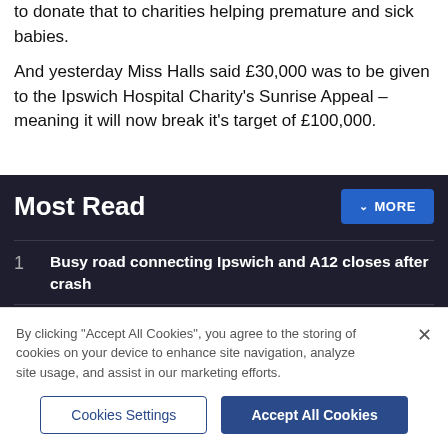to donate that to charities helping premature and sick babies.
And yesterday Miss Halls said £30,000 was to be given to the Ipswich Hospital Charity's Sunrise Appeal – meaning it will now break it's target of £100,000.
Most Read
1  Busy road connecting Ipswich and A12 closes after crash
2  Ipswich drug dealer jailed for more than five years
By clicking "Accept All Cookies", you agree to the storing of cookies on your device to enhance site navigation, analyze site usage, and assist in our marketing efforts.